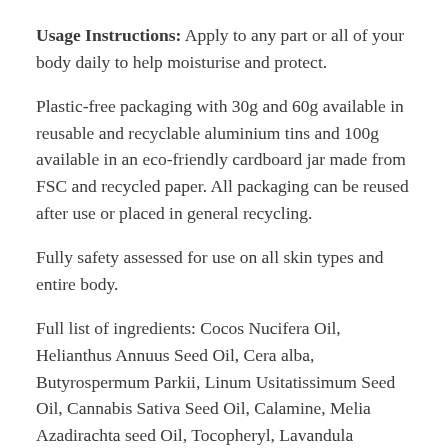Usage Instructions: Apply to any part or all of your body daily to help moisturise and protect.
Plastic-free packaging with 30g and 60g available in reusable and recyclable aluminium tins and 100g available in an eco-friendly cardboard jar made from FSC and recycled paper. All packaging can be reused after use or placed in general recycling.
Fully safety assessed for use on all skin types and entire body.
Full list of ingredients: Cocos Nucifera Oil, Helianthus Annuus Seed Oil, Cera alba, Butyrospermum Parkii, Linum Usitatissimum Seed Oil, Cannabis Sativa Seed Oil, Calamine, Melia Azadirachta seed Oil, Tocopheryl, Lavandula Angustifolia Oil,